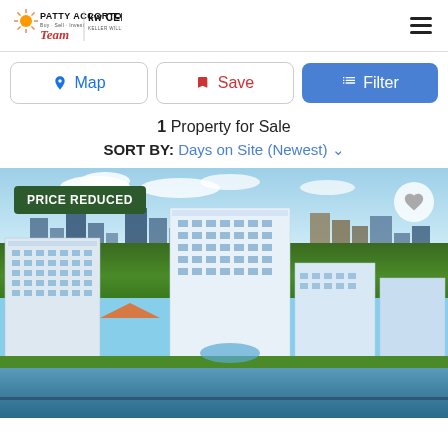[Figure (logo): Patty Accorto Team logo with KW Central Keller Williams Realty logo]
Map
Save
Filter
1 Property for Sale
SORT BY: Days on Site (Newest)
[Figure (photo): Aerial photo of luxury waterfront condo buildings in South Florida with green spaces and blue sky. A 'PRICE REDUCED' badge is in the top left and a heart/favorite button in the top right.]